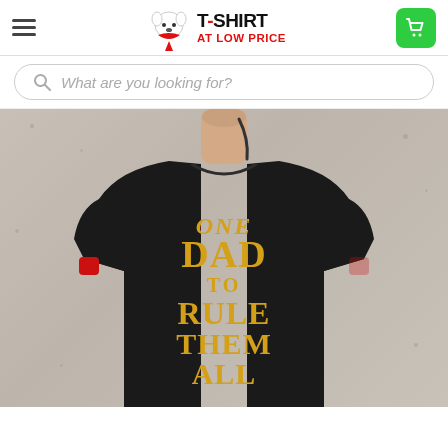T-SHIRT AT LOW PRICE
What are you looking for?
[Figure (photo): Man wearing a black t-shirt with gold text reading ONE DAD TO RULE THEM ALL, standing against a concrete wall, wearing red wristbands]